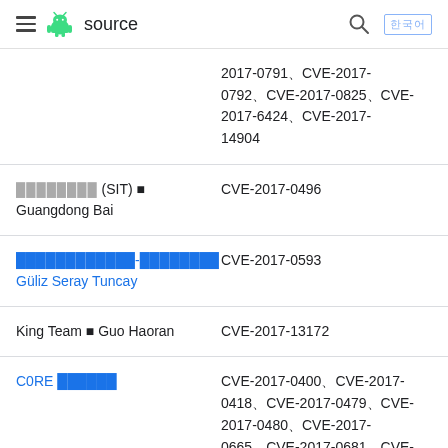≡ android source
| Researcher | CVE |
| --- | --- |
|  | 2017-0791、CVE-2017-0792、CVE-2017-0825、CVE-2017-6424、CVE-2017-14904 |
| ████████ (SIT) ■ Guangdong Bai | CVE-2017-0496 |
| ████████████-████████ Güliz Seray Tuncay | CVE-2017-0593 |
| King Team ■ Guo Haoran | CVE-2017-13172 |
| C0RE ██████ | CVE-2017-0400、CVE-2017-0418、CVE-2017-0479、CVE-2017-0480、CVE-2017-0665、CVE-2017-0681、CVE-2017-0737、CVE-2017- |